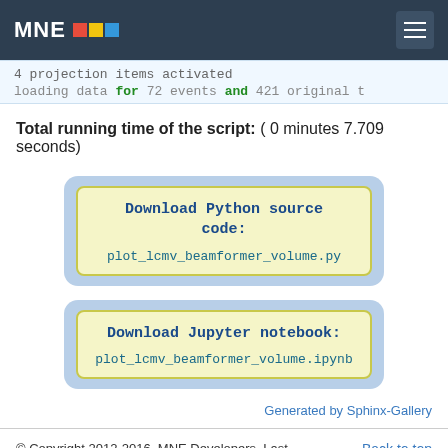MNE
4 projection items activated
loading data for 72 events and 421 original t
Total running time of the script: ( 0 minutes 7.709 seconds)
[Figure (other): Download Python source code button: plot_lcmv_beamformer_volume.py]
[Figure (other): Download Jupyter notebook button: plot_lcmv_beamformer_volume.ipynb]
Generated by Sphinx-Gallery
© Copyright 2012-2016, MNE Developers. Last updated on 2016-11-21.